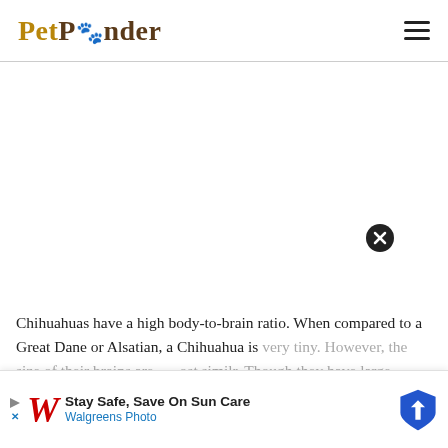PetPonder
[Figure (other): Large blank white advertisement/image area below the header navigation bar]
Chihuahuas have a high body-to-brain ratio. When compared to a Great Dane or Alsatian, a Chihuahua is very tiny. However, the size of their brains are almost similar. Though they have large brains, there is no conclusion. Though they have large brains, there is no conclusion, one shouldn't be a high...
[Figure (infographic): Overlay advertisement banner at bottom of page: Stay Safe, Save On Sun Care - Walgreens Photo, with Walgreens italic W logo in red and a blue direction/navigation shield icon. Has close X circle button and play/skip controls.]